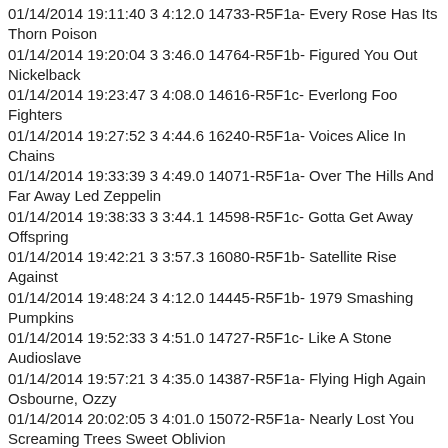01/14/2014 19:11:40 3 4:12.0 14733-R5F1a- Every Rose Has Its Thorn Poison
01/14/2014 19:20:04 3 3:46.0 14764-R5F1b- Figured You Out Nickelback
01/14/2014 19:23:47 3 4:08.0 14616-R5F1c- Everlong Foo Fighters
01/14/2014 19:27:52 3 4:44.6 16240-R5F1a- Voices Alice In Chains
01/14/2014 19:33:39 3 4:49.0 14071-R5F1a- Over The Hills And Far Away Led Zeppelin
01/14/2014 19:38:33 3 3:44.1 14598-R5F1c- Gotta Get Away Offspring
01/14/2014 19:42:21 3 3:57.3 16080-R5F1b- Satellite Rise Against
01/14/2014 19:48:24 3 4:12.0 14445-R5F1b- 1979 Smashing Pumpkins
01/14/2014 19:52:33 3 4:51.0 14727-R5F1c- Like A Stone Audioslave
01/14/2014 19:57:21 3 4:35.0 14387-R5F1a- Flying High Again Osbourne, Ozzy
01/14/2014 20:02:05 3 4:01.0 15072-R5F1a- Nearly Lost You Screaming Trees Sweet Oblivion
01/14/2014 20:06:15 3 4:12.0 13000-R5F1a- That S...